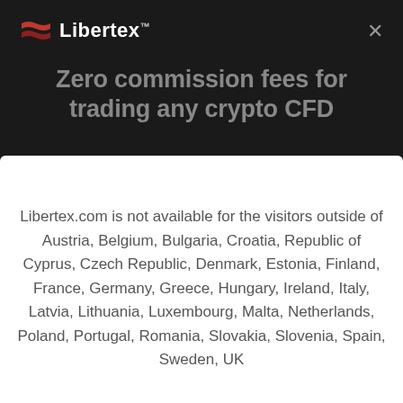Libertex™
Zero commission fees for trading any crypto CFD
Libertex.com is not available for the visitors outside of Austria, Belgium, Bulgaria, Croatia, Republic of Cyprus, Czech Republic, Denmark, Estonia, Finland, France, Germany, Greece, Hungary, Ireland, Italy, Latvia, Lithuania, Luxembourg, Malta, Netherlands, Poland, Portugal, Romania, Slovakia, Slovenia, Spain, Sweden, UK